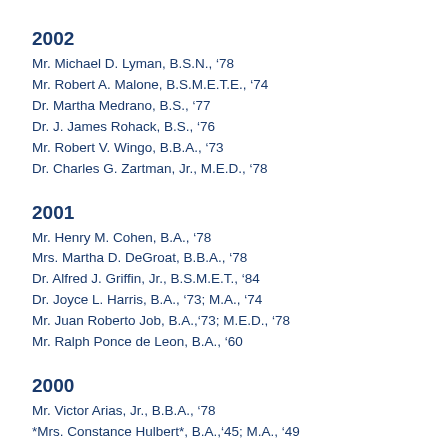2002
Mr. Michael D. Lyman, B.S.N., ’78
Mr. Robert A. Malone, B.S.M.E.T.E., ’74
Dr. Martha Medrano, B.S., ’77
Dr. J. James Rohack, B.S., ’76
Mr. Robert V. Wingo, B.B.A., ’73
Dr. Charles G. Zartman, Jr., M.E.D., ’78
2001
Mr. Henry M. Cohen, B.A., ’78
Mrs. Martha D. DeGroat, B.B.A., ’78
Dr. Alfred J. Griffin, Jr., B.S.M.E.T., ’84
Dr. Joyce L. Harris, B.A., ’73; M.A., ’74
Mr. Juan Roberto Job, B.A.,’73; M.E.D., ’78
Mr. Ralph Ponce de Leon, B.A., ’60
2000
Mr. Victor Arias, Jr., B.B.A., ’78
*Mrs. Constance Hulbert*, B.A.,’45; M.A., ’49
Mrs. Harriet B. May, B.S., ’71
Dr. Steffen E. Palko, B.S.E.E., ’71
Mr. Eduardo J. Ramirez, B.S., ’86